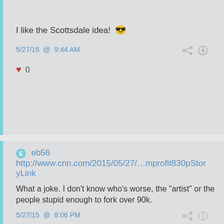I like the Scottsdale idea! 😎
5/27/15 @ 9:44 AM
♥ 0
eb56 http://www.cnn.com/2015/05/27/…mprofit830pStoryLink
What a joke. I don't know who's worse, the "artist" or the people stupid enough to fork over 90k.
5/27/15 @ 8:06 PM